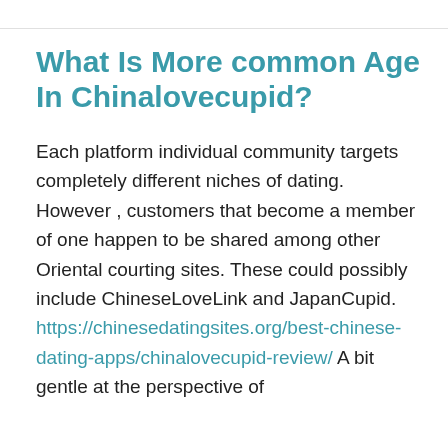What Is More common Age In Chinalovecupid?
Each platform individual community targets completely different niches of dating. However , customers that become a member of one happen to be shared among other Oriental courting sites. These could possibly include ChineseLoveLink and JapanCupid. https://chinesedatingsites.org/best-chinese-dating-apps/chinalovecupid-review/ A bit gentle at the perspective of